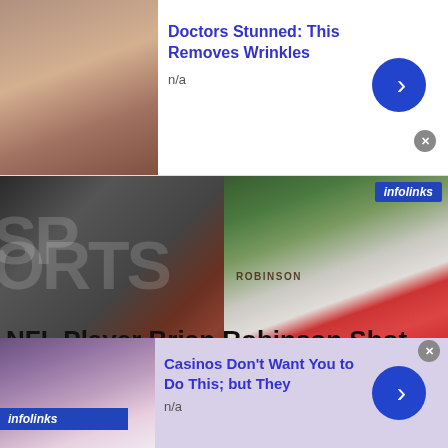[Figure (screenshot): Top advertisement banner with thumbnail image, title 'Doctors Stunned: This Removes Wrinkles', subtitle 'n/a', blue circular arrow button, and close button]
[Figure (photo): Main article image split into two panels: left shows sports jersey/shoes scene with watermark text 'SPORTS', right shows a football player wearing a Robinson jersey in red and white]
NFL Player Brian Robinson Shot Multiple Times During Attempted Carjacking in D.C.
[Figure (screenshot): Bottom advertisement banner with thumbnail image, title 'Casinos Don’t Want You to Do This; but They', subtitle 'n/a', blue circular arrow button, and close button]